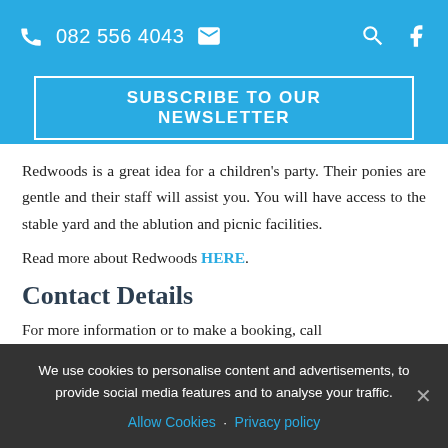082 556 4043  [email icon]  [search icon]  [facebook icon]
SUBSCRIBE TO OUR NEWSLETTER
Redwoods is a great idea for a children's party. Their ponies are gentle and their staff will assist you. You will have access to the stable yard and the ablution and picnic facilities.
Read more about Redwoods HERE.
Contact Details
For more information or to make a booking, call
We use cookies to personalise content and advertisements, to provide social media features and to analyse your traffic.
Allow Cookies · Privacy policy